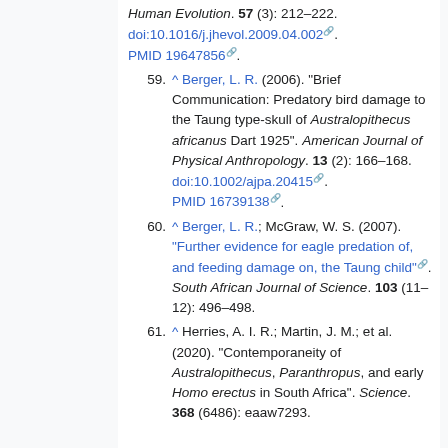(continuation) Human Evolution. 57 (3): 212–222. doi:10.1016/j.jhevol.2009.04.002. PMID 19647856.
59. ^ Berger, L. R. (2006). "Brief Communication: Predatory bird damage to the Taung type-skull of Australopithecus africanus Dart 1925". American Journal of Physical Anthropology. 13 (2): 166–168. doi:10.1002/ajpa.20415. PMID 16739138.
60. ^ Berger, L. R.; McGraw, W. S. (2007). "Further evidence for eagle predation of, and feeding damage on, the Taung child". South African Journal of Science. 103 (11–12): 496–498.
61. ^ Herries, A. I. R.; Martin, J. M.; et al. (2020). "Contemporaneity of Australopithecus, Paranthropus, and early Homo erectus in South Africa". Science. 368 (6486): eaaw7293.